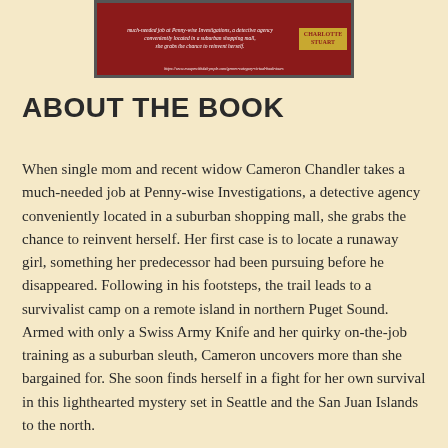[Figure (illustration): Book cover image for a mystery novel, dark red background with white italic text describing the book plot and a yellow author name block reading 'CHARLOTTE STUART'. A URL appears at the bottom.]
ABOUT THE BOOK
When single mom and recent widow Cameron Chandler takes a much-needed job at Penny-wise Investigations, a detective agency conveniently located in a suburban shopping mall, she grabs the chance to reinvent herself. Her first case is to locate a runaway girl, something her predecessor had been pursuing before he disappeared. Following in his footsteps, the trail leads to a survivalist camp on a remote island in northern Puget Sound. Armed with only a Swiss Army Knife and her quirky on-the-job training as a suburban sleuth, Cameron uncovers more than she bargained for. She soon finds herself in a fight for her own survival in this lighthearted mystery set in Seattle and the San Juan Islands to the north.